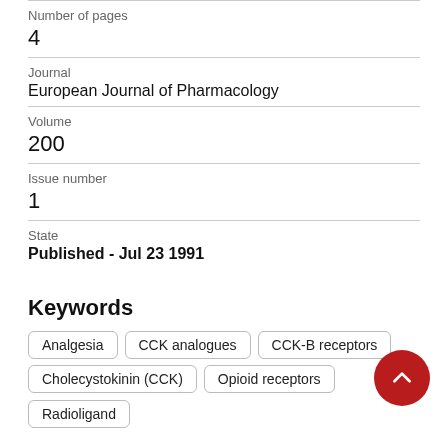Number of pages
4
Journal
European Journal of Pharmacology
Volume
200
Issue number
1
State
Published - Jul 23 1991
Keywords
Analgesia
CCK analogues
CCK-B receptors
Cholecystokinin (CCK)
Opioid receptors
Radioligand